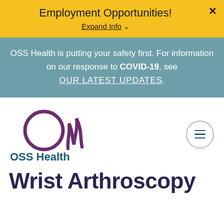Employment Opportunities!
Expand Info ˅
OSS Health is putting your safety first. For information on our response to COVID-19, see OUR LATEST UPDATES.
[Figure (logo): OSS Health logo with purple circle and stylized flame/wave marks, with text 'OSS Health']
Wrist Arthroscopy